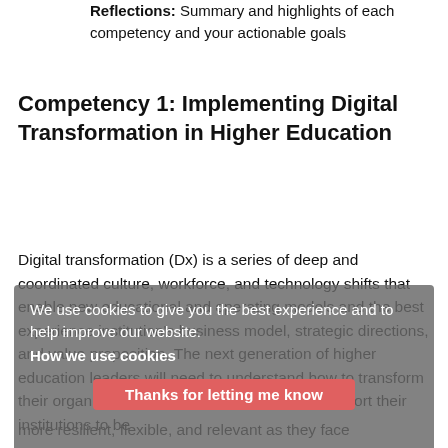Reflections: Summary and highlights of each competency and your actionable goals
Competency 1: Implementing Digital Transformation in Higher Education
Digital transformation (Dx) is a series of deep and coordinated culture, workforce, and technology shifts that enable new educational and operating models and the best experience and to help improve our website institution's business model, strategic directions, and we use propositon. The next generation of higher education leaders will need to understand how to transform their organizations so they can prepare and support their institutions to be more resilient, flexible, and relevant as they face